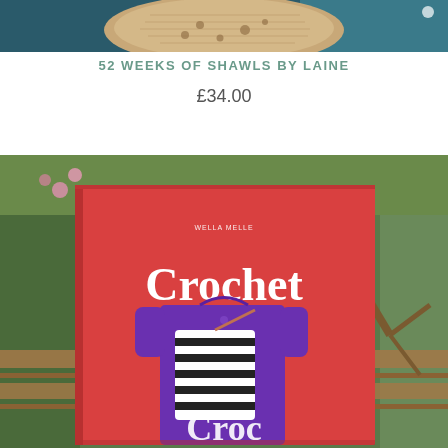[Figure (photo): Top portion of a photo showing a knitted/crocheted hat or shawl item in beige/brown tones against a dark teal/blue background]
52 WEEKS OF SHAWLS BY LAINE
£34.00
[Figure (photo): A red hardcover book titled 'Crochet' with a smaller subtitle below, showing a person wearing a purple dress holding a black and white crocheted bag, photographed outdoors against a wooden fence and green foliage background]